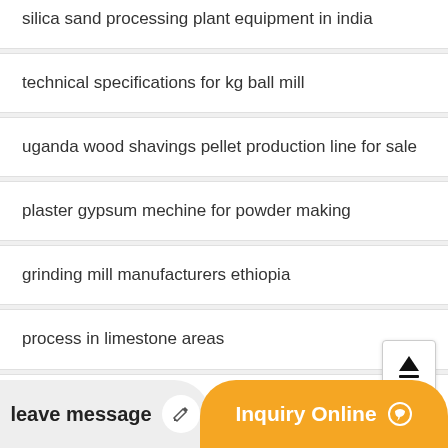silica sand processing plant equipment in india
technical specifications for kg ball mill
uganda wood shavings pellet production line for sale
plaster gypsum mechine for powder making
grinding mill manufacturers ethiopia
process in limestone areas
fastrack mobil crusher
ore crusher used mm rubber convayer belt
grinder 2010crusher plant
leave message
Inquiry Online